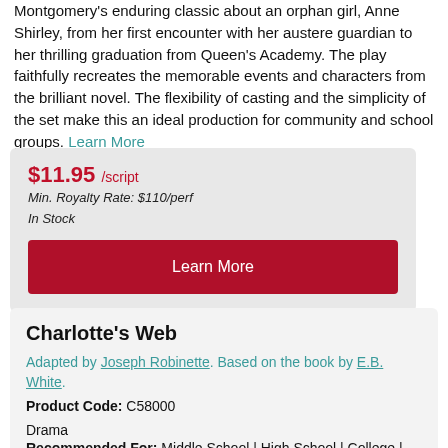Montgomery's enduring classic about an orphan girl, Anne Shirley, from her first encounter with her austere guardian to her thrilling graduation from Queen's Academy. The play faithfully recreates the memorable events and characters from the brilliant novel. The flexibility of casting and the simplicity of the set make this an ideal production for community and school groups. Learn More
$11.95 /script
Min. Royalty Rate: $110/perf
In Stock
Learn More
Charlotte's Web
Adapted by Joseph Robinette. Based on the book by E.B. White.
Product Code: C58000
Drama
Recommended For: Middle School | High School | College |